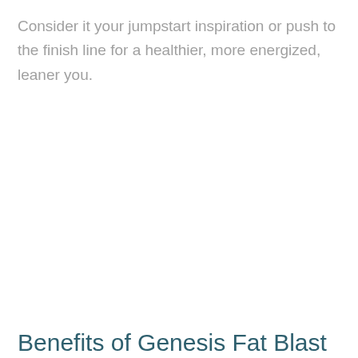Consider it your jumpstart inspiration or push to the finish line for a healthier, more energized, leaner you.
Benefits of Genesis Fat Blast